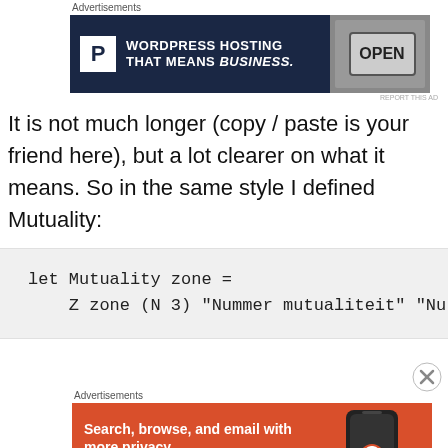[Figure (screenshot): Advertisement banner: Pressable WordPress Hosting that means business, with OPEN sign photo]
It is not much longer (copy / paste is your friend here), but a lot clearer on what it means. So in the same style I defined Mutuality:
[Figure (screenshot): Code block showing: let Mutuality zone =
    Z zone (N 3) "Nummer mutualiteit" "Nu]
[Figure (screenshot): Advertisement banner: DuckDuckGo - Search, browse, and email with more privacy. All in One Free App]